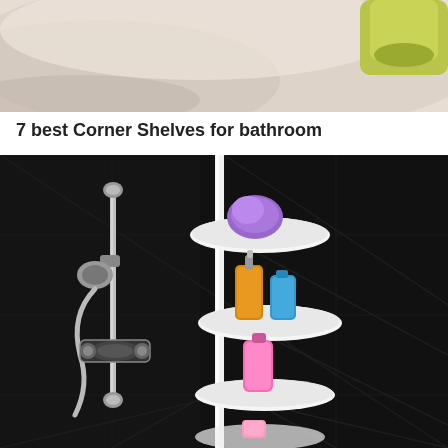[Figure (photo): Top portion of a bathroom scene showing what appears to be a light-colored bathtub or surface with a yellowish-green bottle or container visible in the upper right area.]
7 best Corner Shelves for bathroom
[Figure (photo): A white multi-tier corner shower caddy/pole shelf unit standing in a bathroom corner with black tiles. The shelves hold bathroom products: a purple loofah on the top shelf, an amber/gold pump bottle and a blue bottle on the second shelf, a pink bottle on the third shelf, and a pink tube on the bottom shelf. A chrome shower system with handheld showerhead is visible on the left wall.]